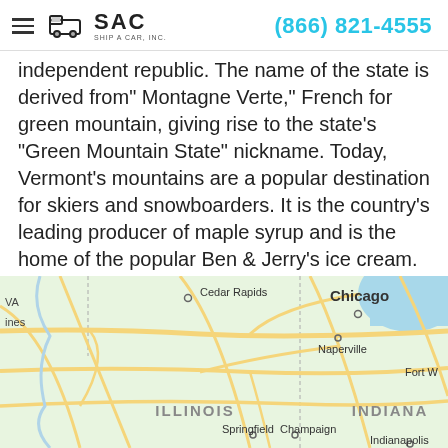SAC Ship A Car, Inc. — (866) 821-4555
independent republic. The name of the state is derived from" Montagne Verte," French for green mountain, giving rise to the state's "Green Mountain State" nickname. Today, Vermont's mountains are a popular destination for skiers and snowboarders. It is the country's leading producer of maple syrup and is the home of the popular Ben & Jerry's ice cream.
[Figure (map): Google Maps screenshot showing the Midwest United States including Chicago, Naperville, Cedar Rapids, Springfield, Champaign, Fort Wayne, Illinois, Indiana, and Indianapolis.]